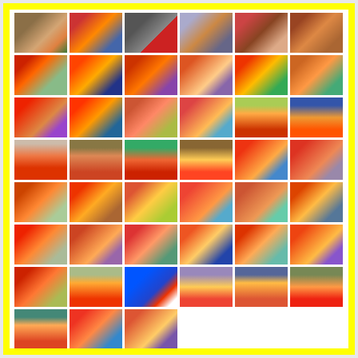[Figure (photo): Grid of approximately 45 thumbnail photographs showing a clown (with red wig, red nose, colorful costume) in various settings and with various people including children and adults at parties and events.]